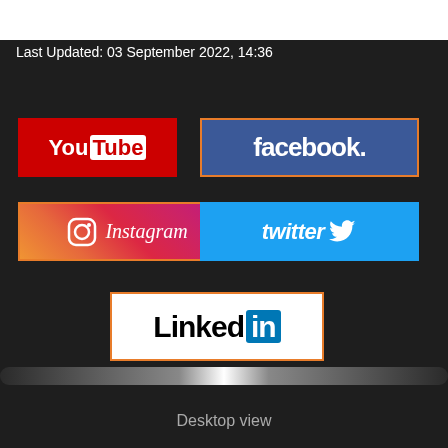Last Updated: 03 September 2022, 14:36
[Figure (logo): YouTube logo: red background with white 'You' text and white rectangle containing red 'Tube' text]
[Figure (logo): Facebook logo: dark blue background with white 'facebook.' text, orange border]
[Figure (logo): Instagram logo: gradient pink-orange-purple background with camera icon and italic 'Instagram' text, orange border]
[Figure (logo): Twitter logo: light blue background with white italic 'twitter' text and bird icon]
[Figure (logo): LinkedIn logo: white background with 'Linked' in black and 'in' in white on blue box, orange border]
Desktop view